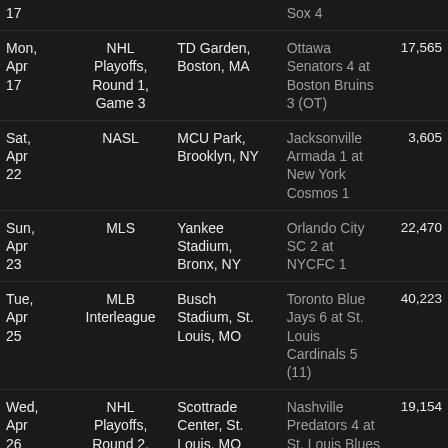| Date | League | Venue | Result | Attendance |
| --- | --- | --- | --- | --- |
| 17 |  |  | Sox 4 |  |
| Mon, Apr 17 | NHL Playoffs, Round 1, Game 3 | TD Garden, Boston, MA | Ottawa Senators 4 at Boston Bruins 3 (OT) | 17,565 |
| Sat, Apr 22 | NASL | MCU Park, Brooklyn, NY | Jacksonville Armada 1 at New York Cosmos 1 | 3,605 |
| Sun, Apr 23 | MLS | Yankee Stadium, Bronx, NY | Orlando City SC 2 at NYCFC 1 | 22,470 |
| Tue, Apr 25 | MLB Interleague | Busch Stadium, St. Louis, MO | Toronto Blue Jays 6 at St. Louis Cardinals 5 (11) | 40,223 |
| Wed, Apr 26 | NHL Playoffs, Round 2, Game 1 | Scottrade Center, St. Louis, MO | Nashville Predators 4 at St. Louis Blues 3 | 19,154 |